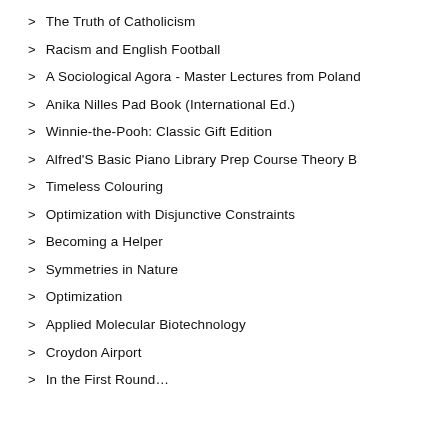The Truth of Catholicism
Racism and English Football
A Sociological Agora - Master Lectures from Poland
Anika Nilles Pad Book (International Ed.)
Winnie-the-Pooh: Classic Gift Edition
Alfred'S Basic Piano Library Prep Course Theory B
Timeless Colouring
Optimization with Disjunctive Constraints
Becoming a Helper
Symmetries in Nature
Optimization
Applied Molecular Biotechnology
Croydon Airport
In the First Round…